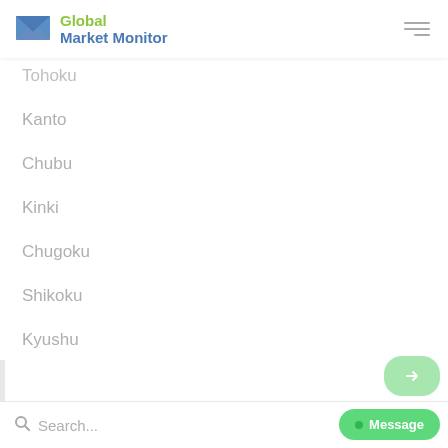Global Market Monitor
Tohoku
Kanto
Chubu
Kinki
Chugoku
Shikoku
Kyushu
Search...